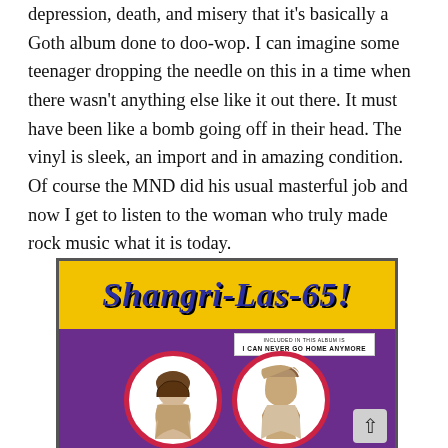depression, death, and misery that it's basically a Goth album done to doo-wop. I can imagine some teenager dropping the needle on this in a time when there wasn't anything else like it out there. It must have been like a bomb going off in their head. The vinyl is sleek, an import and in amazing condition. Of course the MND did his usual masterful job and now I get to listen to the woman who truly made rock music what it is today.
[Figure (photo): Album cover of 'Shangri-Las-65!' showing yellow top banner with title text in blue stylized font, a white sticker reading 'I CAN NEVER GO HOME ANYMORE', purple background, and circular portrait photographs of band members with red borders.]